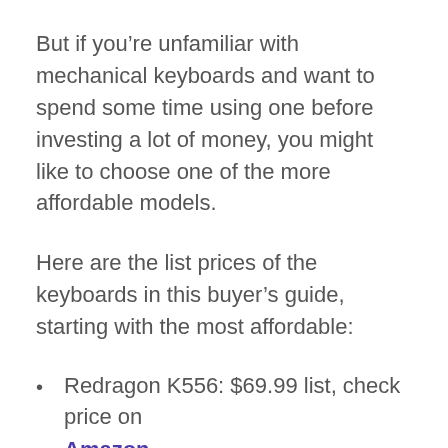But if you're unfamiliar with mechanical keyboards and want to spend some time using one before investing a lot of money, you might like to choose one of the more affordable models.
Here are the list prices of the keyboards in this buyer's guide, starting with the most affordable:
Redragon K556: $69.99 list, check price on Amazon
Keychron K1: $99.00 list, check price on Amazon
HyperX Alloy Elite 2: $199.85 list, check price